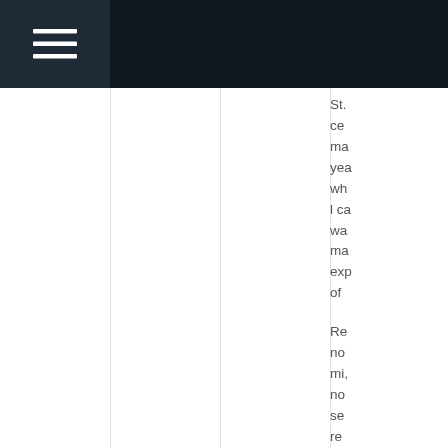☰
St.
ce
ma
yea
wh
l ca
wa
ma
exp
of

Re
no
mi,
no
se
re
be

No
fac